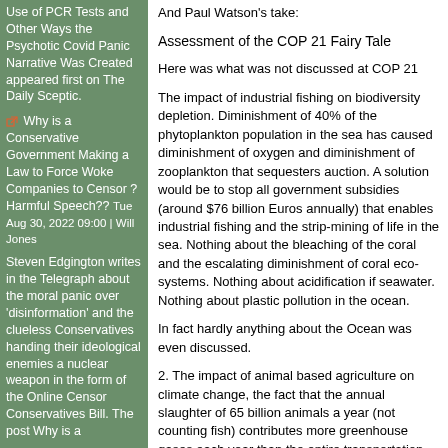Use of PCR Tests and Other Ways the Psychotic Covid Panic Narrative Was Created appeared first on The Daily Sceptic.
Why is a Conservative Government Making a Law to Force Woke Companies to Censor ?Harmful Speech?? Tue Aug 30, 2022 09:00 | Will Jones
Steven Edgington writes in the Telegraph about the moral panic over 'disinformation' and the clueless Conservatives handing their ideological enemies a nuclear weapon in the form of the Online Censor Conservatives Bill. The post Why is a
And Paul Watson's take:
Assessment of the COP 21 Fairy Tale
Here was what was not discussed at COP 21
The impact of industrial fishing on biodiversity depletion. Diminishment of 40% of the phytoplankton population in the sea has caused diminishment of oxygen and diminishment of zooplankton that sequesters auction. A solution would be to stop all government subsidies (around $76 billion Euros annually) that enables industrial fishing and the strip-mining of life in the sea. Nothing about the bleaching of the coral and the escalating diminishment of coral eco-systems. Nothing about acidification if seawater. Nothing about plastic pollution in the ocean.
In fact hardly anything about the Ocean was even discussed.
2. The impact of animal based agriculture on climate change, the fact that the annual slaughter of 65 billion animals a year (not counting fish) contributes more greenhouse gases each year than the entire transportation industry. (A vegan driving a Hummer would